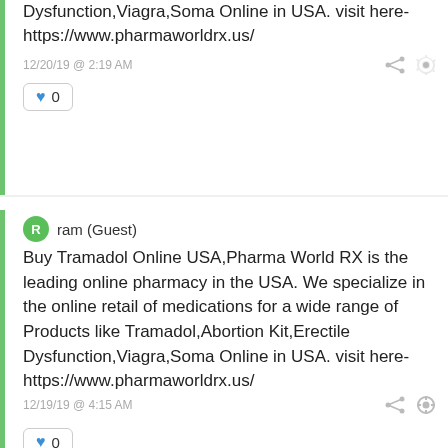Dysfunction,Viagra,Soma Online in USA. visit here- https://www.pharmaworldrx.us/
12/20/19 @ 2:19 AM
0
ram (Guest)
Buy Tramadol Online USA,Pharma World RX is the leading online pharmacy in the USA. We specialize in the online retail of medications for a wide range of Products like Tramadol,Abortion Kit,Erectile Dysfunction,Viagra,Soma Online in USA. visit here- https://www.pharmaworldrx.us/
12/19/19 @ 4:15 AM
0